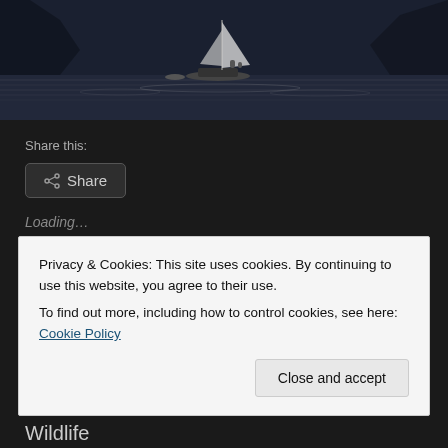[Figure (photo): Black and white photo of a sailing boat on water with dark mountains in the background, top portion of page]
Share this:
Share
Loading...
2017, April 24
Clouds, Sailing Boat, sailing boat "Keoki"
Privacy & Cookies: This site uses cookies. By continuing to use this website, you agree to their use.
To find out more, including how to control cookies, see here: Cookie Policy
Close and accept
Wildlife